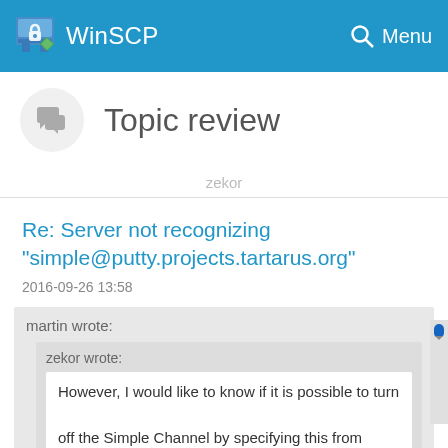WinSCP
Topic review
zekor
Re: Server not recognizing "simple@putty.projects.tartarus.org"
2016-09-26 13:58
martin wrote:
zekor wrote:
However, I would like to know if it is possible to turn off the Simple Channel by specifying this from